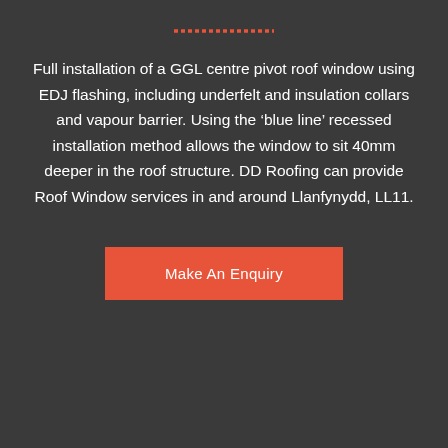[Figure (other): Short horizontal red/coral decorative line divider near top of page]
Full installation of a GGL centre pivot roof window using EDJ flashing, including underfelt and insulation collars and vapour barrier. Using the ‘blue line’ recessed installation method allows the window to sit 40mm deeper in the roof structure. DD Roofing can provide Roof Window services in and around Llanfynydd, LL11.
Make An Enquiry